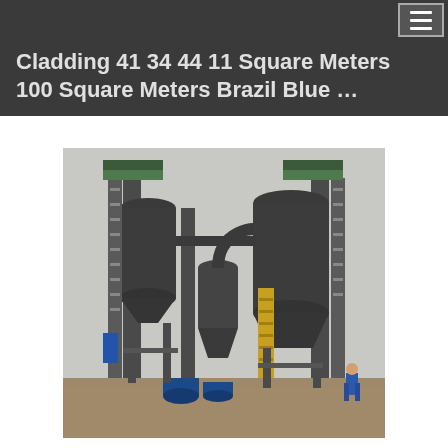☰
Cladding 41 34 44 11 Square Meters 100 Square Meters Brazil Blue …
[Figure (photo): Industrial plant with large dark cylindrical silos/tanks, conveyor towers, piping and structural steel framework. Two large vertical cylindrical vessels on left and right, connected by piping, with a dust collector or separator in the center. Yellow painted structures visible. A person in blue coveralls stands at lower right. Overcast sky background, muddy ground.]